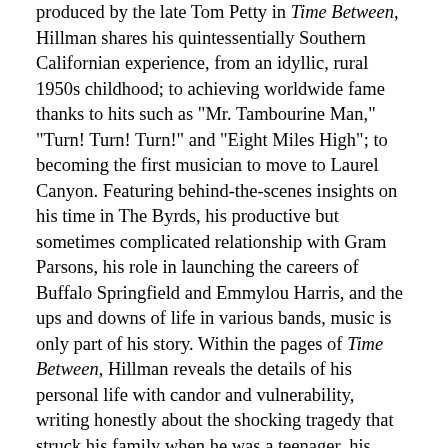produced by the late Tom Petty in Time Between, Hillman shares his quintessentially Southern Californian experience, from an idyllic, rural 1950s childhood; to achieving worldwide fame thanks to hits such as "Mr. Tambourine Man," "Turn! Turn! Turn!" and "Eight Miles High"; to becoming the first musician to move to Laurel Canyon. Featuring behind-the-scenes insights on his time in The Byrds, his productive but sometimes complicated relationship with Gram Parsons, his role in launching the careers of Buffalo Springfield and Emmylou Harris, and the ups and downs of life in various bands, music is only part of his story. Within the pages of Time Between, Hillman reveals the details of his personal life with candor and vulnerability, writing honestly about the shocking tragedy that struck his family when he was a teenager, his subsequent struggles with anger, and how his spiritual journey led him to a place of deep faith that allowed him to extend forgiveness and experience wholeness. Chris Hillman is much more than a rock star. He is truly a founding father of American music and a man who has faced